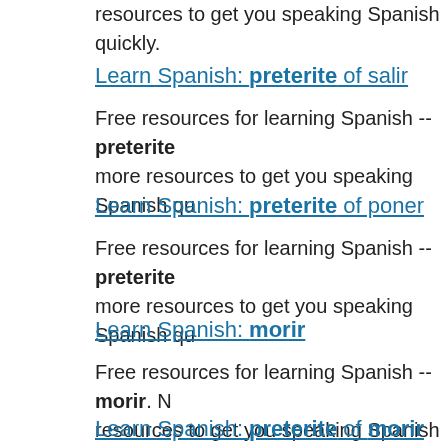resources to get you speaking Spanish quickly.
Learn Spanish: preterite of salir
Free resources for learning Spanish -- preterite more resources to get you speaking Spanish qu
Learn Spanish: preterite of poner
Free resources for learning Spanish -- preterite more resources to get you speaking Spanish qu
Learn Spanish: morir
Free resources for learning Spanish -- morir. N resources to get you speaking Spanish quickly.
Learn Spanish: preterite of morir